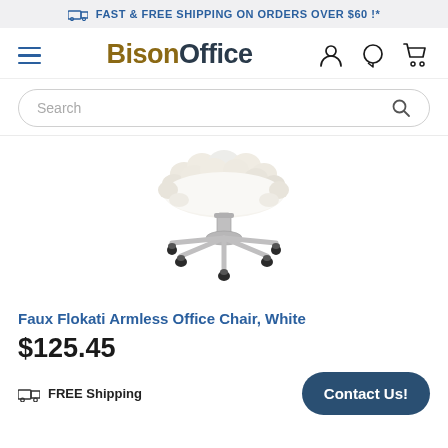FAST & FREE SHIPPING ON ORDERS OVER $60 !*
[Figure (logo): BisonOffice logo with hamburger menu, user icon, chat icon, and cart icon in navigation bar]
[Figure (other): Search bar with magnifying glass icon]
[Figure (photo): Faux Flokati Armless Office Chair in white with chrome base and caster wheels on white background]
Faux Flokati Armless Office Chair, White
$125.45
FREE Shipping
Contact Us!